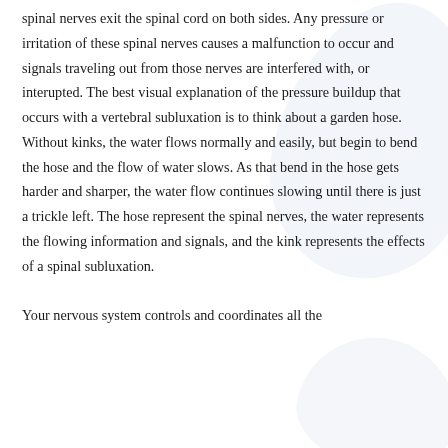spinal nerves exit the spinal cord on both sides. Any pressure or irritation of these spinal nerves causes a malfunction to occur and signals traveling out from those nerves are interfered with, or interupted. The best visual explanation of the pressure buildup that occurs with a vertebral subluxation is to think about a garden hose. Without kinks, the water flows normally and easily, but begin to bend the hose and the flow of water slows. As that bend in the hose gets harder and sharper, the water flow continues slowing until there is just a trickle left. The hose represent the spinal nerves, the water represents the flowing information and signals, and the kink represents the effects of a spinal subluxation.
Your nervous system controls and coordinates all the